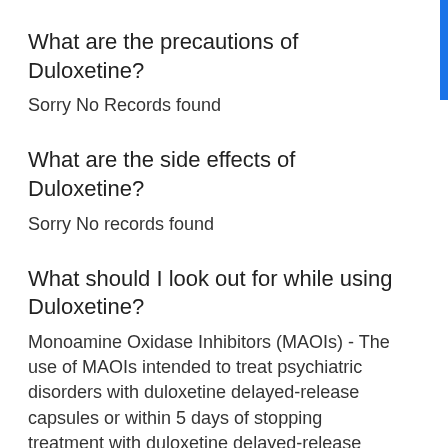What are the precautions of Duloxetine?
Sorry No Records found
What are the side effects of Duloxetine?
Sorry No records found
What should I look out for while using Duloxetine?
Monoamine Oxidase Inhibitors (MAOIs) - The use of MAOIs intended to treat psychiatric disorders with duloxetine delayed-release capsules or within 5 days of stopping treatment with duloxetine delayed-release capsules are contraindicated because of an increased risk of serotonin syndrome. The use of duloxetine